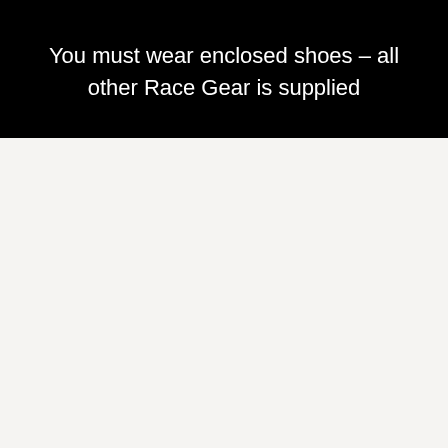You must wear enclosed shoes – all other Race Gear is supplied